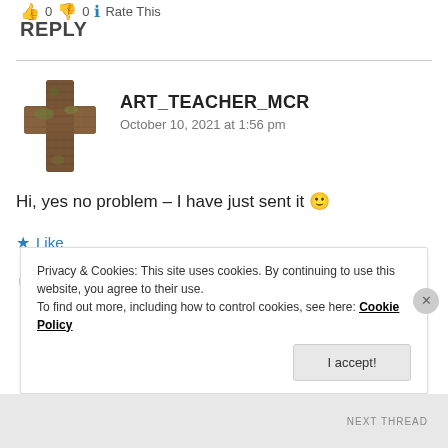0 0 Rate This
REPLY
[Figure (photo): Avatar image of ART_TEACHER_MCR — a cross shape made of wood/bark texture]
ART_TEACHER_MCR
October 10, 2021 at 1:56 pm
Hi, yes no problem – I have just sent it 🙂
★ Like
👍 0 👎 0 ℹ Rate This
Privacy & Cookies: This site uses cookies. By continuing to use this website, you agree to their use.
To find out more, including how to control cookies, see here: Cookie Policy
I accept!